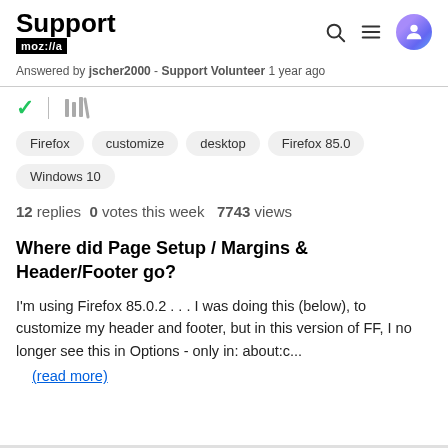Support moz://a
Answered by jscher2000 - Support Volunteer 1 year ago
✓ | library icon
Firefox  customize  desktop  Firefox 85.0  Windows 10
12 replies  0 votes this week  7743 views
Where did Page Setup / Margins & Header/Footer go?
I'm using Firefox 85.0.2 . . . I was doing this (below), to customize my header and footer, but in this version of FF, I no longer see this in Options - only in: about:c...
(read more)